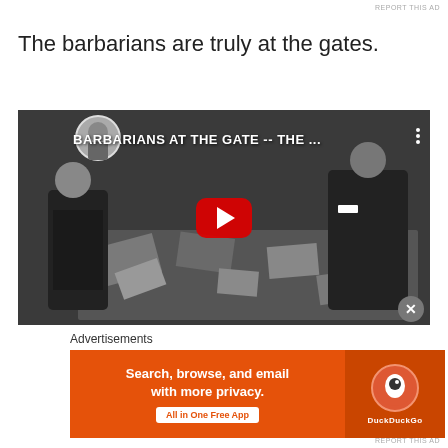REPORT THIS AD
The barbarians are truly at the gates.
[Figure (screenshot): YouTube video thumbnail showing black and white historical photograph of figures bending over scattered books/papers on floor, with YouTube play button overlay. Video title reads: BARBARIANS AT THE GATE -- THE ...]
Advertisements
[Figure (other): DuckDuckGo advertisement banner. Orange background. Text: Search, browse, and email with more privacy. All in One Free App. DuckDuckGo logo on right side.]
REPORT THIS AD